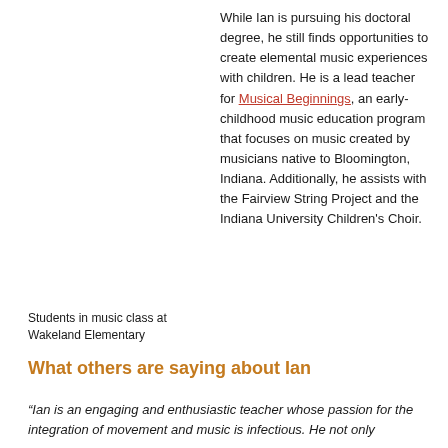While Ian is pursuing his doctoral degree, he still finds opportunities to create elemental music experiences with children. He is a lead teacher for Musical Beginnings, an early-childhood music education program that focuses on music created by musicians native to Bloomington, Indiana. Additionally, he assists with the Fairview String Project and the Indiana University Children's Choir.
Students in music class at Wakeland Elementary
What others are saying about Ian
“Ian is an engaging and enthusiastic teacher whose passion for the integration of movement and music is infectious. He not only